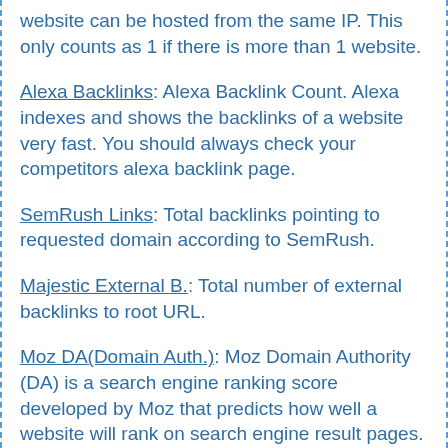website can be hosted from the same IP. This only counts as 1 if there is more than 1 website.
Alexa Backlinks: Alexa Backlink Count. Alexa indexes and shows the backlinks of a website very fast. You should always check your competitors alexa backlink page.
SemRush Links: Total backlinks pointing to requested domain according to SemRush.
Majestic External B.: Total number of external backlinks to root URL.
Moz DA(Domain Auth.): Moz Domain Authority (DA) is a search engine ranking score developed by Moz that predicts how well a website will rank on search engine result pages. A Domain Authority score ranges from 1 to 100, with higher scores corresponding to a greater